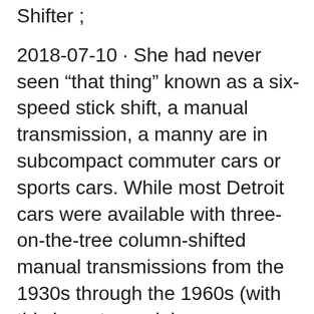Shifter ;
2018-07-10 · She had never seen “that thing” known as a six-speed stick shift, a manual transmission, a manny are in subcompact commuter cars or sports cars. While most Detroit cars were available with three-on-the-tree column-shifted manual transmissions from the 1930s through the 1960s (with this layout remaining as an
The Worst Shifter Designs of 2017. 2 Since the FMVSS regulations allowed for cars like the button-shifted Plymouth Valiant in the 1960s, the transmission shifter ... The 7 Best Manual Transmissions You than just buying a car